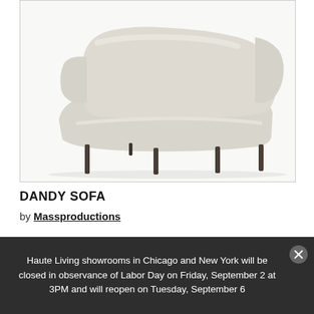[Figure (photo): A curved modern sofa (Dandy Sofa) with pale beige/cream upholstery and dark slender legs, shown on a white background. The sofa has an organic curved silhouette.]
DANDY SOFA
by Massproductions
Haute Living showrooms in Chicago and New York will be closed in observance of Labor Day on Friday, September 2 at 3PM and will reopen on Tuesday, September 6